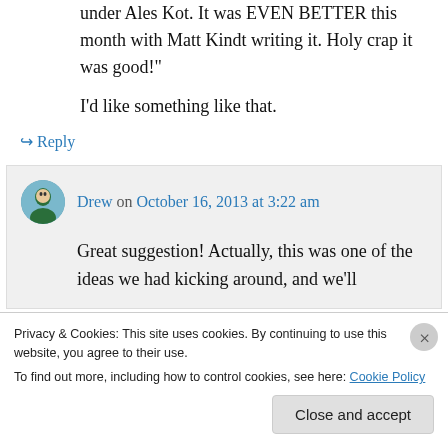under Ales Kot. It was EVEN BETTER this month with Matt Kindt writing it. Holy crap it was good!"
I'd like something like that.
↪ Reply
Drew on October 16, 2013 at 3:22 am
Great suggestion! Actually, this was one of the ideas we had kicking around, and we'll
Privacy & Cookies: This site uses cookies. By continuing to use this website, you agree to their use.
To find out more, including how to control cookies, see here: Cookie Policy
Close and accept